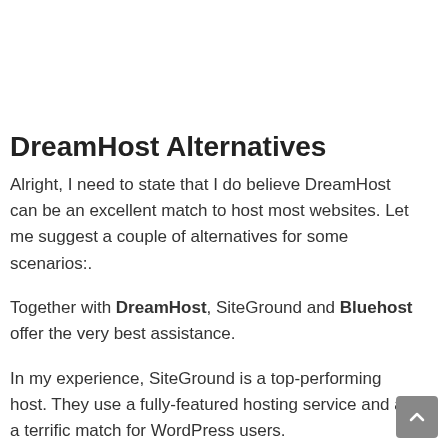DreamHost Alternatives
Alright, I need to state that I do believe DreamHost can be an excellent match to host most websites. Let me suggest a couple of alternatives for some scenarios:.
Together with DreamHost, SiteGround and Bluehost offer the very best assistance.
In my experience, SiteGround is a top-performing host. They use a fully-featured hosting service and are a terrific match for WordPress users.